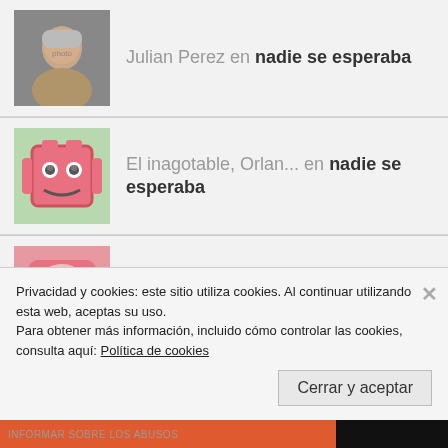Julian Perez en nadie se esperaba
El inagotable, Orlan... en nadie se esperaba
El inagotable Orland... en nadie se esperaba
Julian Perez en nadie se esperaba
El inagotable, Orlan... en nadie se esperaba
Privacidad y cookies: este sitio utiliza cookies. Al continuar utilizando esta web, aceptas su uso.
Para obtener más información, incluido cómo controlar las cookies, consulta aquí: Política de cookies
Cerrar y aceptar